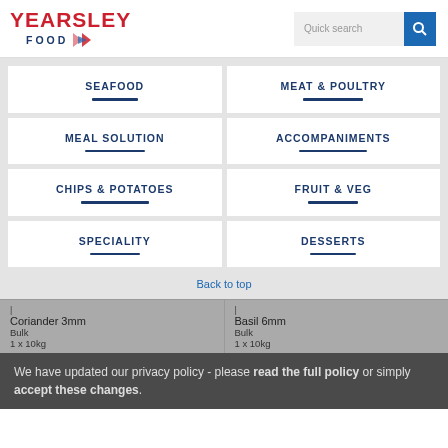[Figure (logo): Yearsley Food logo with red text and blue diamond icon]
Quick search
SEAFOOD
MEAT & POULTRY
MEAL SOLUTION
ACCOMPANIMENTS
CHIPS & POTATOES
FRUIT & VEG
SPECIALITY
DESSERTS
Back to top
Coriander 3mm
Bulk
1 x 10kg
Basil 6mm
Bulk
1 x 10kg
We have updated our privacy policy - please read the full policy or simply accept these changes.